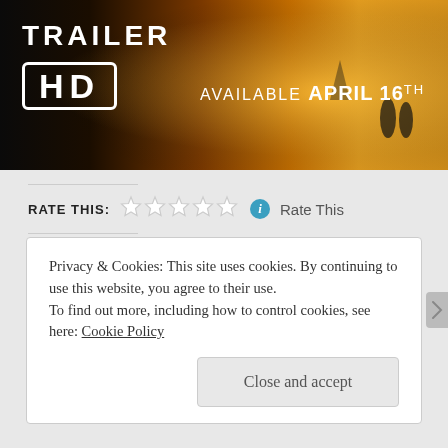[Figure (screenshot): Movie trailer HD banner ad showing a golden sunset beach scene with text 'TRAILER HD AVAILABLE APRIL 16TH']
RATE THIS:
Rate This
SHARE THIS:
Twitter
Facebook
Loading...
Privacy & Cookies: This site uses cookies. By continuing to use this website, you agree to their use.
To find out more, including how to control cookies, see here: Cookie Policy
Close and accept